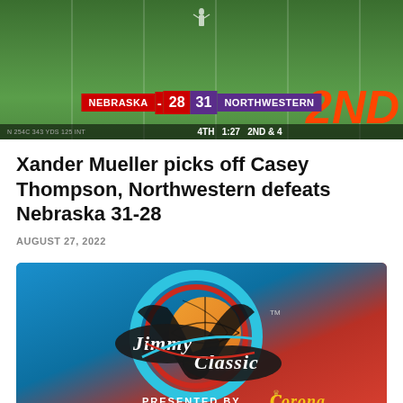[Figure (screenshot): Football game broadcast screenshot showing Nebraska 28 vs Northwestern 31, 4th quarter 1:27 remaining, 2nd and 4. Large orange '2ND' text visible on right side.]
Xander Mueller picks off Casey Thompson, Northwestern defeats Nebraska 31-28
AUGUST 27, 2022
[Figure (logo): Jimmy V Classic basketball tournament logo presented by Corona. Circular logo with basketball, teal/blue ring, red accents, and stylized 'Jimmy V Classic' text in script font on black background elements.]